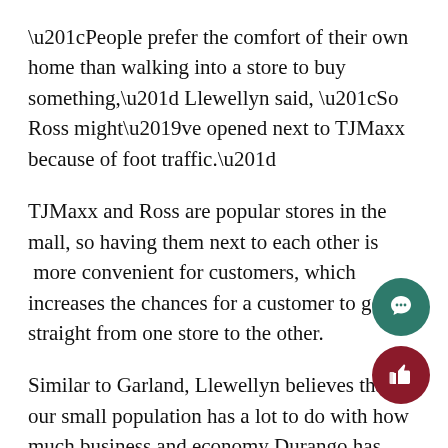“People prefer the comfort of their own home than walking into a store to buy something,” Llewellyn said, “So Ross might’ve opened next to TJMaxx because of foot traffic.”
TJMaxx and Ross are popular stores in the mall, so having them next to each other is  more convenient for customers, which increases the chances for a customer to go straight from one store to the other.
Similar to Garland, Llewellyn believes that our small population has a lot to do with how much business and economy Durango has, which affects our mall.
“The mall is always looking for tenants and talking retailers to go into Sports Authority,” said Llewellyn.
Businesses in Durango, such as the mall, have always been struggling and still do because of economical